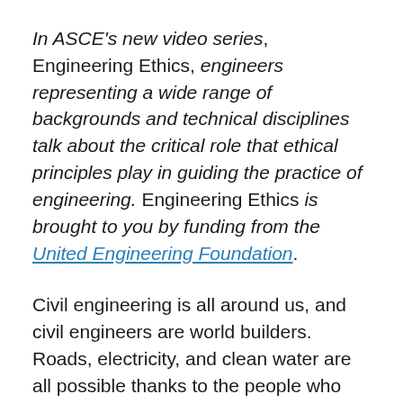In ASCE's new video series, Engineering Ethics, engineers representing a wide range of backgrounds and technical disciplines talk about the critical role that ethical principles play in guiding the practice of engineering. Engineering Ethics is brought to you by funding from the United Engineering Foundation.
Civil engineering is all around us, and civil engineers are world builders. Roads, electricity, and clean water are all possible thanks to the people who design and build these systems.
Part of civil engineers' role involves a lasting commitment to protect the health, safety, and welfare of the public. At the same time, they